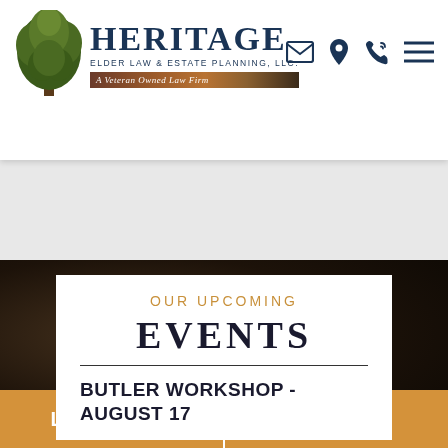Heritage Elder Law & Estate Planning, LLC. A Veteran Owned Law Firm
OUR UPCOMING
EVENTS
BUTLER WORKSHOP - AUGUST 17
LIVE CHAT
TEXT US